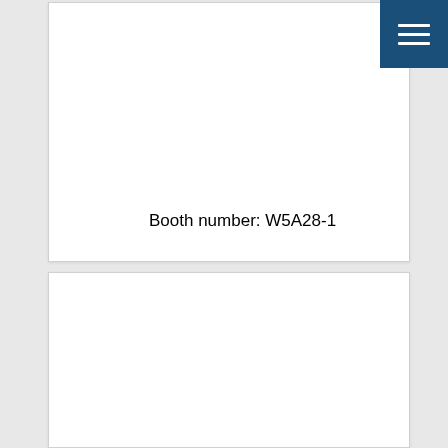[Figure (screenshot): Navigation menu button (hamburger icon) with three white horizontal lines on a dark blue square background, positioned in the top-right corner]
Booth number: W5A28-1
[Figure (other): White card/panel with no visible content]